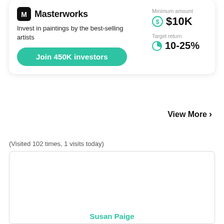[Figure (logo): Masterworks logo with icon]
Invest in paintings by the best-selling artists
Join 450K investors
Minimum investment
$10K
Target return
10-25%
View More
(Visited 102 times, 1 visits today)
Susan Paige